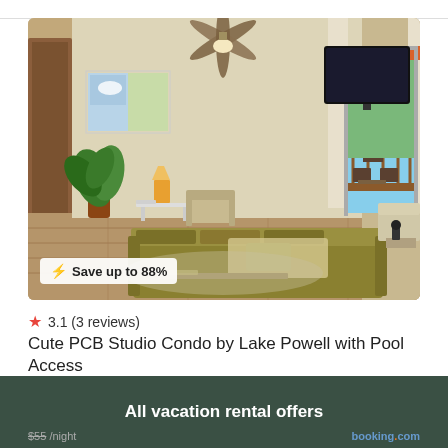[Figure (photo): Interior photo of a studio condo living room with ceiling fan, yellow/olive sofa, large flat-screen TV on wall, sliding glass door to balcony with outdoor seating, tropical plant, and coastal artwork. Badge overlay reads 'Save up to 88%']
★ 3.1 (3 reviews)
Cute PCB Studio Condo by Lake Powell with Pool Access
Apartment
$55 /night
All vacation rental offers